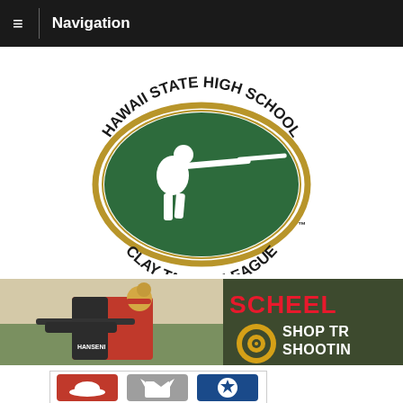Navigation
[Figure (logo): Hawaii State High School Clay Target League logo - green oval with white shooter silhouette, gold border, black text arched around top and bottom reading HAWAII STATE HIGH SCHOOL CLAY TARGET LEAGUE with TM mark]
[Figure (photo): Banner advertisement showing a female clay target shooter in red and black athletic wear aiming a shotgun on the left half, and on the right a dark olive/green background with red text SCHEEL and white/gold text SHOP TR... SHOOTIN... with a gold bullseye target graphic]
[Figure (infographic): Bottom strip showing three icon tiles: a red tile with a cap/hat icon, a grey tile with a shirt/apparel icon, and a blue tile with a trophy/award icon]